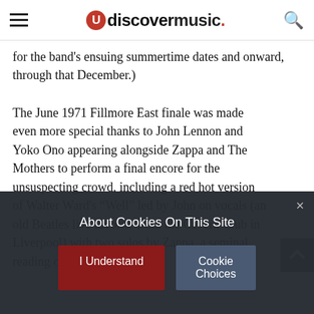udiscovermusic.
for the band's ensuing summertime dates and onward, through that December.)
The June 1971 Fillmore East finale was made even more special thanks to John Lennon and Yoko Ono appearing alongside Zappa and The Mothers to perform a final encore for the unsuspecting crowd, including a red hot version of Walter Ward's "Well" led by John on vocals (an old Beatles live favorite from the Cavern Club in Liverpool) with two solos by Zappa, a seminal reading of "King Kong" that
About Cookies On This Site
I Understand
Cookie Choices